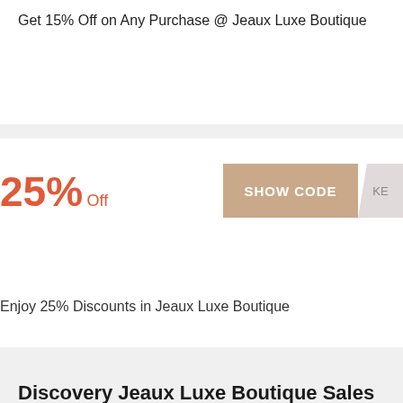Get 15% Off on Any Purchase @ Jeaux Luxe Boutique
25% Off
SHOW CODE
Enjoy 25% Discounts in Jeaux Luxe Boutique
Discovery Jeaux Luxe Boutique Sales & Deals
UP TO
$100 Off
GET DEAL